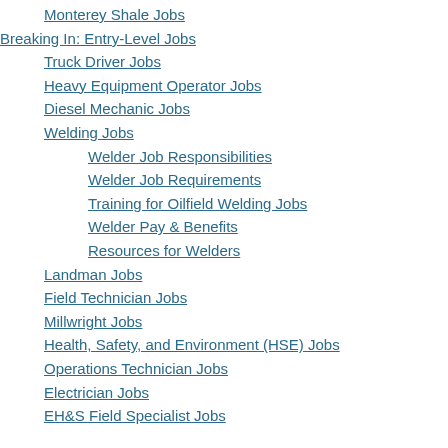Monterey Shale Jobs
Breaking In: Entry-Level Jobs
Truck Driver Jobs
Heavy Equipment Operator Jobs
Diesel Mechanic Jobs
Welding Jobs
Welder Job Responsibilities
Welder Job Requirements
Training for Oilfield Welding Jobs
Welder Pay & Benefits
Resources for Welders
Landman Jobs
Field Technician Jobs
Millwright Jobs
Health, Safety, and Environment (HSE) Jobs
Operations Technician Jobs
Electrician Jobs
EH&S Field Specialist Jobs